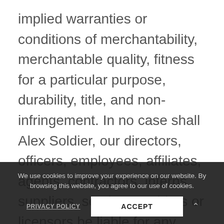implied warranties or conditions of merchantability, merchantable quality, fitness for a particular purpose, durability, title, and non-infringement. In no case shall Alex Soldier, our directors, officers, employees, affiliates, agents, contractors, interns, suppliers, service providers or licensors be liable for any injury, loss, claim, or any direct, indirect, incidental, punitive, special, or consequential damages of any kind, including, without limitation lost profits, lost revenue, lost savings, loss of data, replacement costs, or any similar damages, whether based in contract, tort (including negligence), strict liability or otherwise, arising from your use of any of the services or any products...
We use cookies to improve your experience on our website. By browsing this website, you agree to our use of cookies.
PRIVACY POLICY
ACCEPT